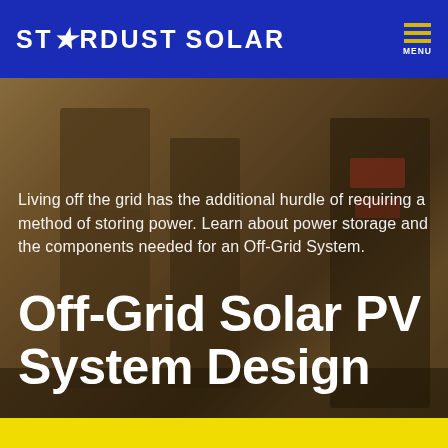STARDUST SOLAR
[Figure (photo): Blurred background photo of solar/electrical equipment indoors, with brown and dark tones, serving as hero background image]
Living off the grid has the additional hurdle of requiring a method of storing power. Learn about power storage and the components needed for an Off-Grid System.
Off-Grid Solar PV System Design